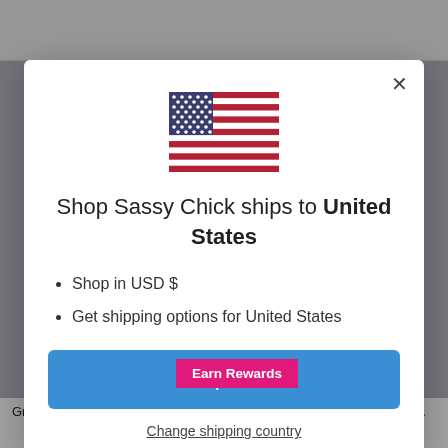[Figure (screenshot): Background webpage with header and product listing partially visible behind modal overlay]
Shop Sassy Chick ships to United States
Shop in USD $
Get shipping options for United States
Shop now
Change shipping country
Earn Rewards
Graffiti Basketball Sha... gner Shoulder Bag Chain Handb... 1 review